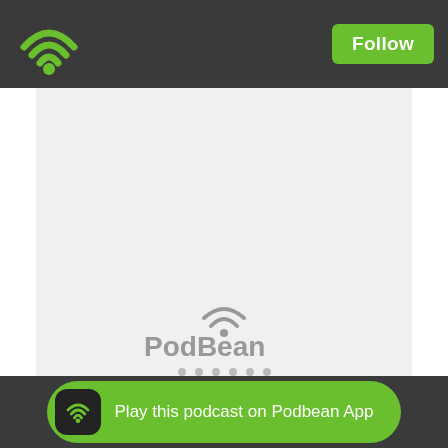Podbean — Follow
[Figure (screenshot): Podbean podcast player embed area with PodBean logo and loading dots on a light grey background]
Likes  Share  Download
Financing the Catalyst to End Cycle?
Play this podcast on Podbean App